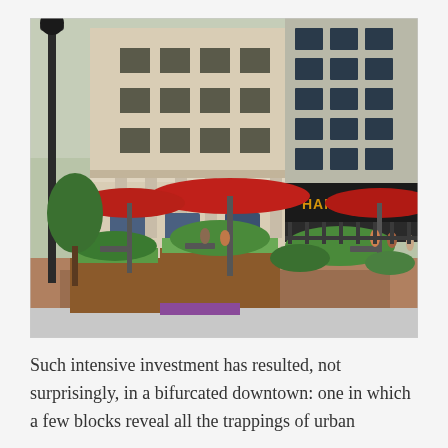[Figure (photo): Street-level photo of an urban downtown scene showing The Hamilton restaurant with outdoor seating under red umbrellas, wooden planter boxes with greenery, pedestrians, and historic and modern buildings in the background.]
Such intensive investment has resulted, not surprisingly, in a bifurcated downtown: one in which a few blocks reveal all the trappings of urban